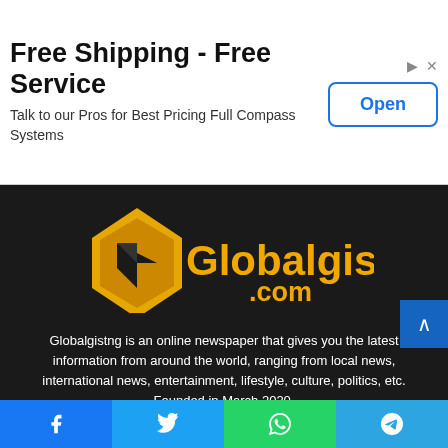[Figure (infographic): Advertisement banner: 'Free Shipping - Free Service' with subtext 'Talk to our Pros for Best Pricing Full Compass Systems' and an 'Open' button on the right]
[Figure (logo): Globalgist.com logo — orange geometric diamond shape on left, bold orange text 'Globalgist' with '.com' below on dark background]
Globalgistng is an online newspaper that gives you the latest information from around the world, ranging from local news, international news, entertainment, lifestyle, culture, politics, etc. Founded in March 2020.